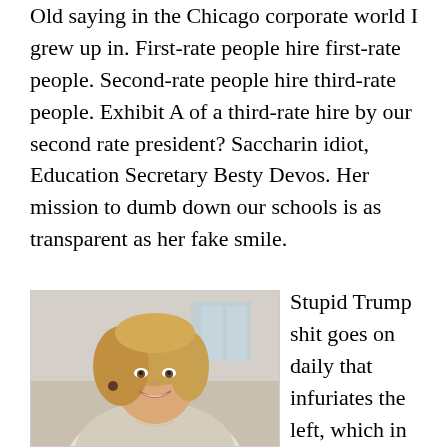Old saying in the Chicago corporate world I grew up in. First-rate people hire first-rate people. Second-rate people hire third-rate people. Exhibit A of a third-rate hire by our second rate president? Saccharin idiot, Education Secretary Besty Devos. Her mission to dumb down our schools is as transparent as her fake smile.
[Figure (photo): Portrait photo of a blonde woman smiling, wearing a light blazer and pearl necklace]
Stupid Trump shit goes on daily that infuriates the left, which in turn agitates the right into hating the left for caring a shit